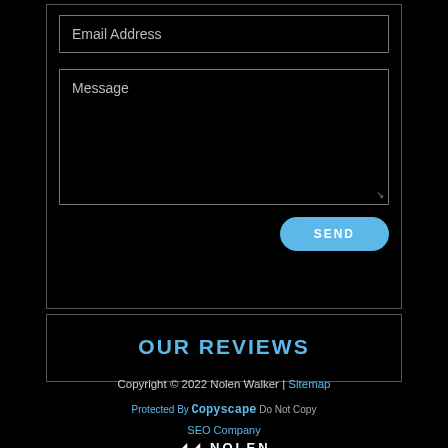Email Address
Message
SEND
OUR REVIEWS
Copyright © 2022 Nolen Walker | Sitemap
Protected By Copyscape Do Not Copy
SEO Company
NOLEN